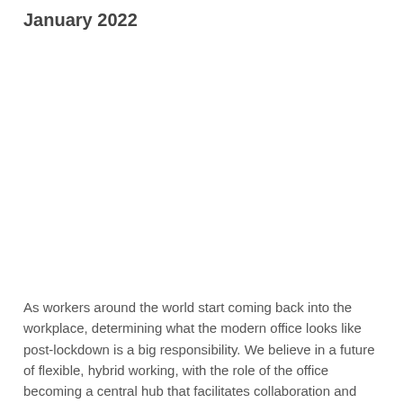January 2022
As workers around the world start coming back into the workplace, determining what the modern office looks like post-lockdown is a big responsibility. We believe in a future of flexible, hybrid working, with the role of the office becoming a central hub that facilitates collaboration and innovation. Therefore we're thrilled about our new